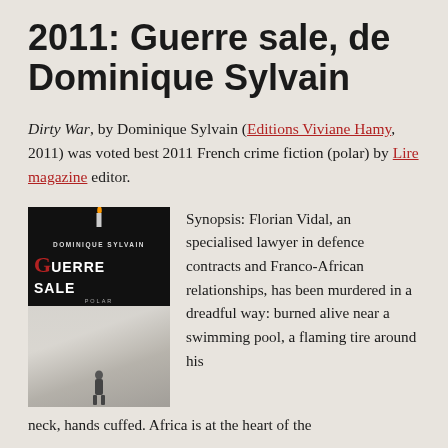2011: Guerre sale, de Dominique Sylvain
Dirty War, by Dominique Sylvain (Editions Viviane Hamy, 2011) was voted best 2011 French crime fiction (polar) by Lire magazine editor.
[Figure (photo): Book cover of 'Guerre Sale' by Dominique Sylvain, published by Viviane Hamy. Dark cover with fog/mist imagery showing a distant figure, title in bold white and red letters.]
Synopsis: Florian Vidal, an specialised lawyer in defence contracts and Franco-African relationships, has been murdered in a dreadful way: burned alive near a swimming pool, a flaming tire around his neck, hands cuffed. Africa is at the heart of the